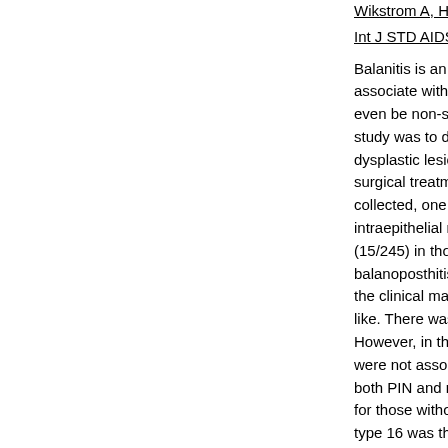Wikstrom A, Heublad MA, Sy... Int J STD AIDS 2013;24:938-4...
Balanitis is an inflammation o... associate with microbiologica... even be non-specific. Huma... study was to determine whe... dysplastic lesions. A total of ... surgical treatment between 20... collected, one for histology e... intraepithelial neoplasia (PIN... (15/245) in those without (p<... balanoposthitis tended to be ... the clinical manifestations of ... like. There was no significant ... However, in the non-PIN grou... were not associated with bala... both PIN and non PIN groups... for those without balanosth... type 16 was the most comm... presence of genital dysplase...